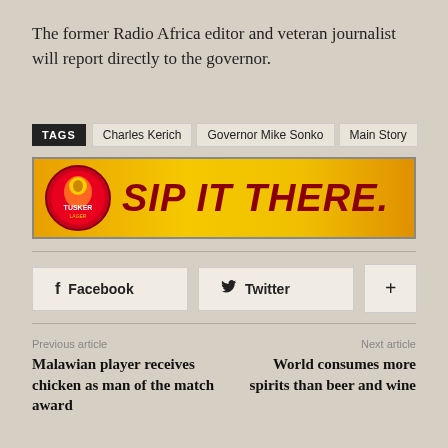The former Radio Africa editor and veteran journalist will report directly to the governor.
TAGS  Charles Kerich  Governor Mike Sonko  Main Story
[Figure (other): Tusker advertisement banner with golden gradient background, Tusker logo on left, and bold italic dark red text reading 'SIP IT THERE.']
Facebook  Twitter  +
Previous article
Malawian player receives chicken as man of the match award
Next article
World consumes more spirits than beer and wine